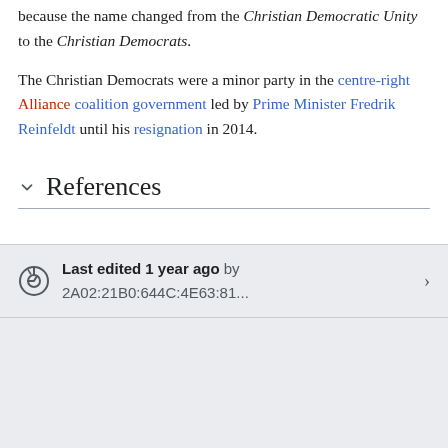because the name changed from the Christian Democratic Unity to the Christian Democrats.
The Christian Democrats were a minor party in the centre-right Alliance coalition government led by Prime Minister Fredrik Reinfeldt until his resignation in 2014.
References
Last edited 1 year ago by 2A02:21B0:644C:4E63:81...